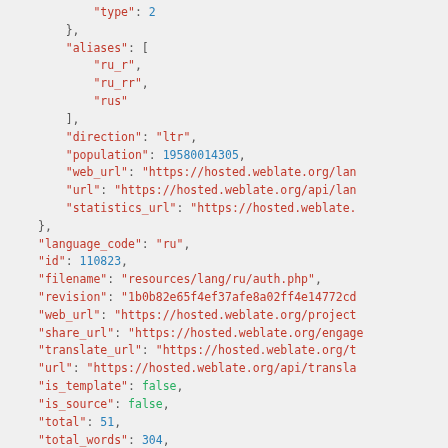JSON code snippet showing language and translation metadata fields including type, aliases, direction, population, web_url, url, statistics_url, language_code, id, filename, revision, web_url, share_url, translate_url, url, is_template, is_source, total, total_words, translated, translated_words, translated_percent, fuzzy, fuzzy_words